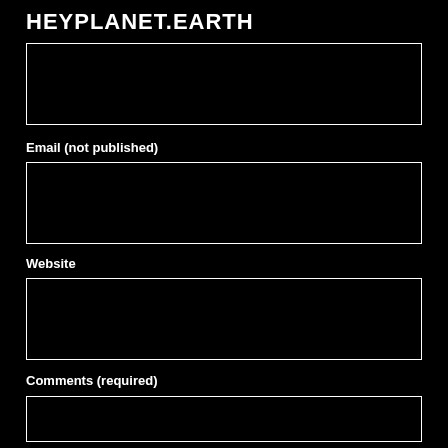HEYPLANET.EARTH
Email (not published)
Website
Comments (required)